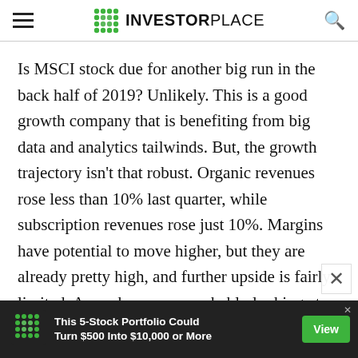INVESTORPLACE
Is MSCI stock due for another big run in the back half of 2019? Unlikely. This is a good growth company that is benefiting from big data and analytics tailwinds. But, the growth trajectory isn't that robust. Organic revenues rose less than 10% last quarter, while subscription revenues rose just 10%. Margins have potential to move higher, but they are already pretty high, and further upside is fairly limited. As such, you are probably looking at a mid-teens profit grower here. MSCI stock trades at 33 times forward earnings. That's a big multiple for mid-teens profit growth — almost too bi
[Figure (other): Advertisement banner: green dot logo, text 'This 5-Stock Portfolio Could Turn $500 Into $10,000 or More', green View button]